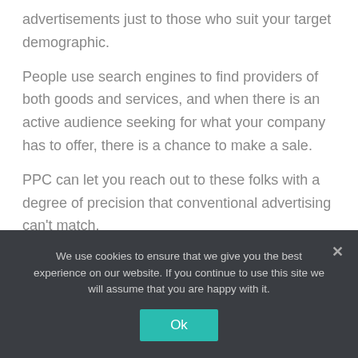advertisements just to those who suit your target demographic.
People use search engines to find providers of both goods and services, and when there is an active audience seeking for what your company has to offer, there is a chance to make a sale.
PPC can let you reach out to these folks with a degree of precision that conventional advertising can't match.
Want to find someone in San Francisco who is
We use cookies to ensure that we give you the best experience on our website. If you continue to use this site we will assume that you are happy with it.